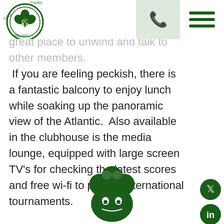[Figure (logo): Golf Tours Ireland circular logo with green shamrock and golf ball design]
[Figure (other): Phone icon in light green rectangle header button]
[Figure (other): Hamburger menu icon (three dark green horizontal lines)]
great place to unwind and talk to other members.  If you are feeling peckish, there is a fantastic balcony to enjoy lunch while soaking up the panoramic view of the Atlantic.  Also available in the clubhouse is the media lounge, equipped with large screen TV's for checking the latest scores and free wi-fi to peruse international tournaments.
[Figure (other): Twitter/X social media icon - dark green circle with bird logo]
[Figure (other): LinkedIn social media icon - dark green circle with 'in' logo]
[Figure (other): Facebook social media icon - dark green circle with 'f' logo]
[Figure (other): TripAdvisor social media icon - dark green circle with owl logo]
[Figure (logo): Golf Tours Ireland shamrock mascot illustration in dark green at bottom center]